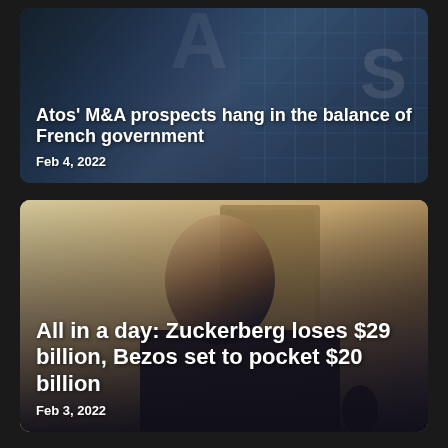[Figure (photo): News card showing Atos building exterior with glass facade, dark blue tones]
Atos' M&A prospects hang in the balance of French government
Feb 4, 2022
[Figure (photo): News card showing Mark Zuckerberg at a congressional hearing, looking sideways, with a portrait painting in the background]
All in a day: Zuckerberg loses $29 billion, Bezos set to pocket $20 billion
Feb 3, 2022